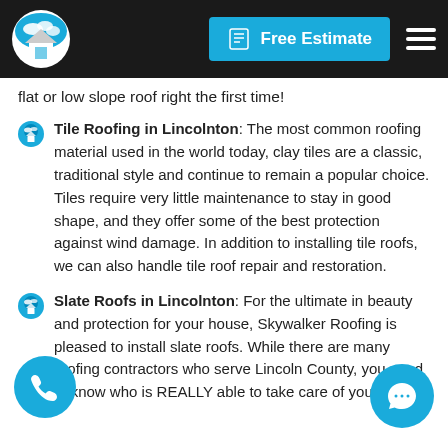Free Estimate
flat or low slope roof right the first time!
Tile Roofing in Lincolnton: The most common roofing material used in the world today, clay tiles are a classic, traditional style and continue to remain a popular choice. Tiles require very little maintenance to stay in good shape, and they offer some of the best protection against wind damage. In addition to installing tile roofs, we can also handle tile roof repair and restoration.
Slate Roofs in Lincolnton: For the ultimate in beauty and protection for your house, Skywalker Roofing is pleased to install slate roofs. While there are many roofing contractors who serve Lincoln County, you need to know who is REALLY able to take care of your